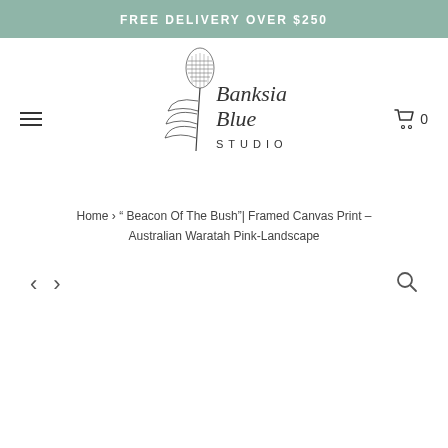FREE DELIVERY OVER $250
[Figure (logo): Banksia Blue Studio logo with illustrated banksia plant and script/serif lettering]
Home › " Beacon Of The Bush"| Framed Canvas Print – Australian Waratah Pink-Landscape
[Figure (other): Navigation controls: left arrow, right arrow, and search icon]